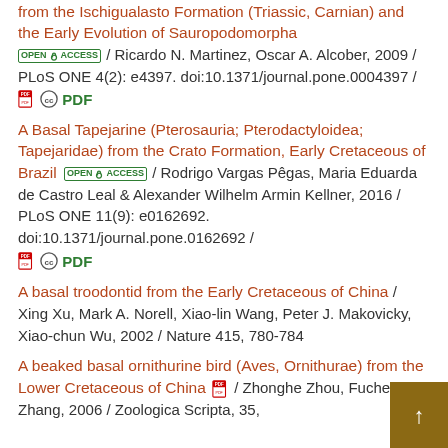from the Ischigualasto Formation (Triassic, Carnian) and the Early Evolution of Sauropodomorpha OPEN ACCESS / Ricardo N. Martinez, Oscar A. Alcober, 2009 / PLoS ONE 4(2): e4397. doi:10.1371/journal.pone.0004397 / PDF
A Basal Tapejarine (Pterosauria; Pterodactyloidea; Tapejaridae) from the Crato Formation, Early Cretaceous of Brazil OPEN ACCESS / Rodrigo Vargas Pêgas, Maria Eduarda de Castro Leal & Alexander Wilhelm Armin Kellner, 2016 / PLoS ONE 11(9): e0162692. doi:10.1371/journal.pone.0162692 / PDF
A basal troodontid from the Early Cretaceous of China / Xing Xu, Mark A. Norell, Xiao-lin Wang, Peter J. Makovicky, Xiao-chun Wu, 2002 / Nature 415, 780-784
A beaked basal ornithurine bird (Aves, Ornithurae) from the Lower Cretaceous of China / Zhonghe Zhou, Fucheng Zhang, 2006 / Zoologica Scripta, 35,